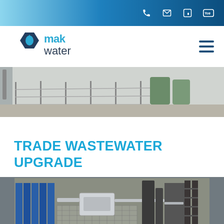MAK Water website header navigation bar with phone, email, LinkedIn, YouTube icons
[Figure (logo): MAK Water company logo — dark navy hexagon with water drop icon, text 'mak water' in blue and dark navy]
[Figure (photo): Outdoor industrial site with chain link fence, green storage tanks, concrete pavement]
TRADE WASTEWATER UPGRADE
[Figure (photo): Aerial close-up view of industrial water treatment equipment — blue racks, metal pipes, grating, control box]